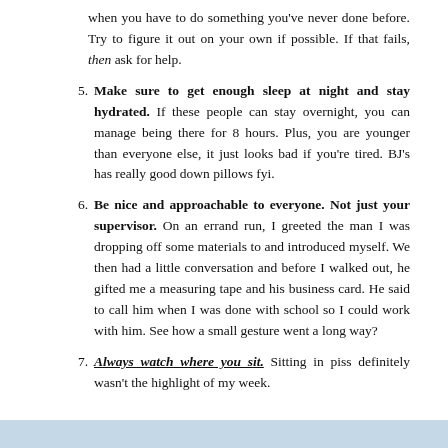when you have to do something you've never done before. Try to figure it out on your own if possible. If that fails, then ask for help.
5. Make sure to get enough sleep at night and stay hydrated. If these people can stay overnight, you can manage being there for 8 hours. Plus, you are younger than everyone else, it just looks bad if you're tired. BJ's has really good down pillows fyi.
6. Be nice and approachable to everyone. Not just your supervisor. On an errand run, I greeted the man I was dropping off some materials to and introduced myself. We then had a little conversation and before I walked out, he gifted me a measuring tape and his business card. He said to call him when I was done with school so I could work with him. See how a small gesture went a long way?
7. Always watch where you sit. Sitting in piss definitely wasn't the highlight of my week.